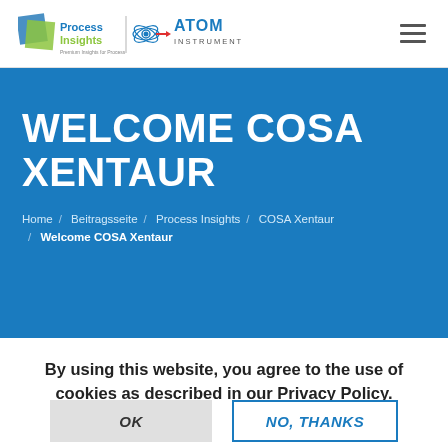Process Insights | ATOM Instrument
WELCOME COSA XENTAUR
Home / Beitragsseite / Process Insights / COSA Xentaur / Welcome COSA Xentaur
By using this website, you agree to the use of cookies as described in our Privacy Policy.
OK   NO, THANKS